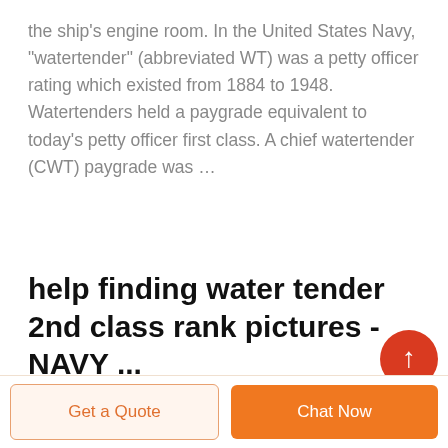the ship's engine room. In the United States Navy, "watertender" (abbreviated WT) was a petty officer rating which existed from 1884 to 1948. Watertenders held a paygrade equivalent to today's petty officer first class. A chief watertender (CWT) paygrade was …
help finding water tender 2nd class rank pictures - NAVY ...
Get a Quote
Chat Now